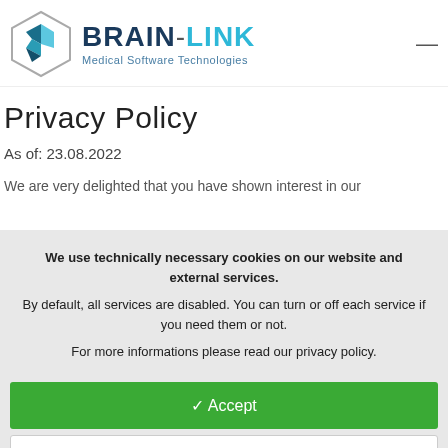[Figure (logo): Brain-Link Medical Software Technologies logo with hexagon icon and brand name]
Privacy Policy
As of: 23.08.2022
We are very delighted that you have shown interest in our
We use technically necessary cookies on our website and external services.
By default, all services are disabled. You can turn or off each service if you need them or not.
For more informations please read our privacy policy.
✓ Accept
Customize